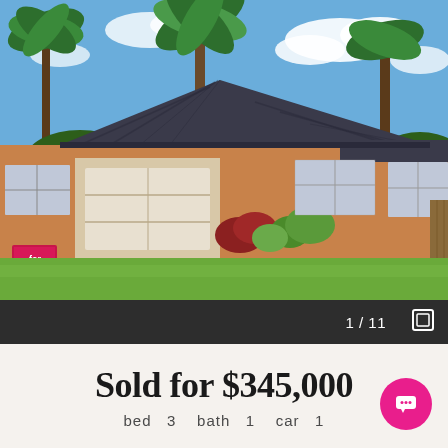[Figure (photo): Exterior photo of a single-storey brick house with tiled roof, white garage door, tropical palm trees, and a 'for sale' sign on a well-maintained green lawn under blue sky with clouds.]
1 / 11
Sold for $345,000
bed 3 bath 1 car 1